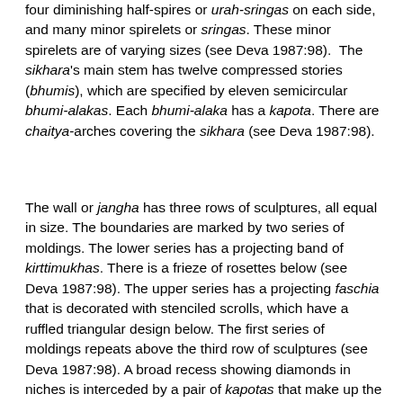four diminishing half-spires or urah-sringas on each side, and many minor spirelets or sringas. These minor spirelets are of varying sizes (see Deva 1987:98). The sikhara's main stem has twelve compressed stories (bhumis), which are specified by eleven semicircular bhumi-alakas. Each bhumi-alaka has a kapota. There are chaitya-arches covering the sikhara (see Deva 1987:98).
The wall or jangha has three rows of sculptures, all equal in size. The boundaries are marked by two series of moldings. The lower series has a projecting band of kirttimukhas. There is a frieze of rosettes below (see Deva 1987:98). The upper series has a projecting faschia that is decorated with stenciled scrolls, which have a ruffled triangular design below. The first series of moldings repeats above the third row of sculptures (see Deva 1987:98). A broad recess showing diamonds in niches is interceded by a pair of kapotas that make up the varandika mouldings of the eave-cornice that separates the wall (jangha) from the sikhara (Deva 1987:98). Balustrades on the five